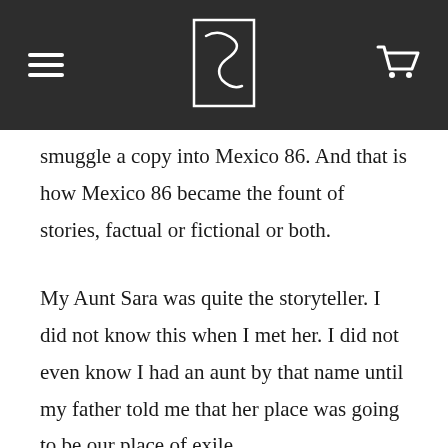Navigation header with logo, hamburger menu, and cart icon
smuggle a copy into Mexico 86. And that is how Mexico 86 became the fount of stories, factual or fictional or both.
My Aunt Sara was quite the storyteller. I did not know this when I met her. I did not even know I had an aunt by that name until my father told me that her place was going to be our place of exile.
Exile, for my brother Mito and me.